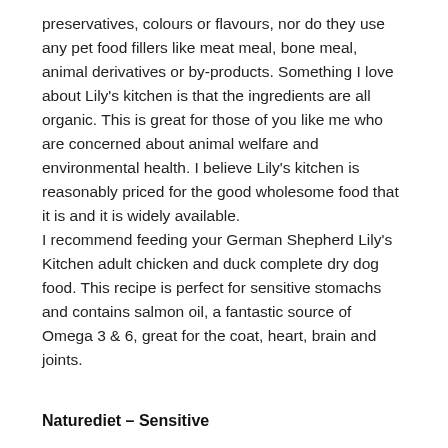preservatives, colours or flavours, nor do they use any pet food fillers like meat meal, bone meal, animal derivatives or by-products. Something I love about Lily's kitchen is that the ingredients are all organic. This is great for those of you like me who are concerned about animal welfare and environmental health. I believe Lily's kitchen is reasonably priced for the good wholesome food that it is and it is widely available.
I recommend feeding your German Shepherd Lily's Kitchen adult chicken and duck complete dry dog food. This recipe is perfect for sensitive stomachs and contains salmon oil, a fantastic source of Omega 3 & 6, great for the coat, heart, brain and joints.
Naturediet – Sensitive